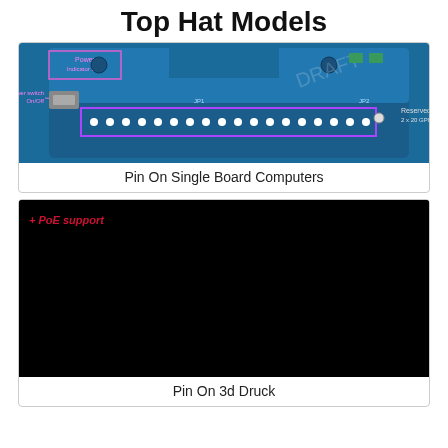Top Hat Models
[Figure (photo): A single board computer showing a 2x20 GPIO pin header highlighted in purple, with labels for Power Indicator LED, Power switch On/Off, Reserved 2x20 GPIO Pins]
Pin On Single Board Computers
[Figure (photo): Black background with multiple teal/cyan 3D printed Raspberry Pi top hat cases arranged in a grid pattern, with text '+ PoE support' in red in the upper left]
Pin On 3d Druck